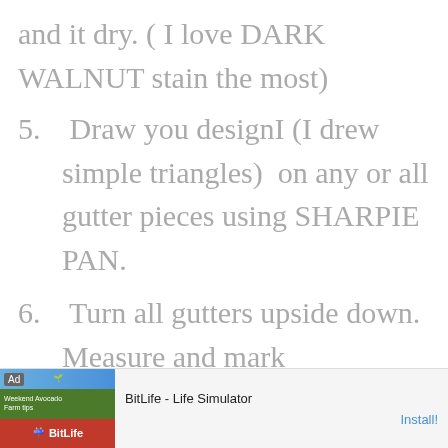and it dry. ( I love DARK WALNUT stain the most)
5. Draw you designI (I drew simple triangles)  on any or all gutter pieces using SHARPIE PAN.
6. Turn all gutters upside down. Measure and mark
[Figure (screenshot): Advertisement banner for BitLife - Life Simulator app with Install button]